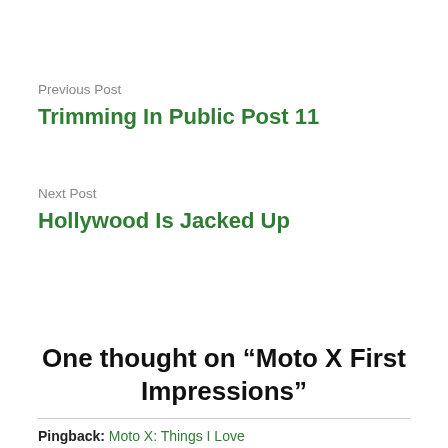Previous Post
Trimming In Public Post 11
Next Post
Hollywood Is Jacked Up
One thought on “Moto X First Impressions”
Pingback: Moto X: Things I Love